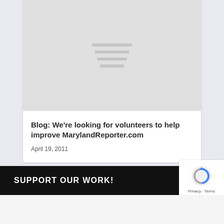[Figure (illustration): Gray placeholder image with four horizontal gray lines in the center, representing an image loading placeholder]
Blog: We're looking for volunteers to help improve MarylandReporter.com
April 19, 2011
SUPPORT OUR WORK!
[Figure (logo): reCAPTCHA badge with blue and gray circular arrow logo and 'Privacy · Terms' text]